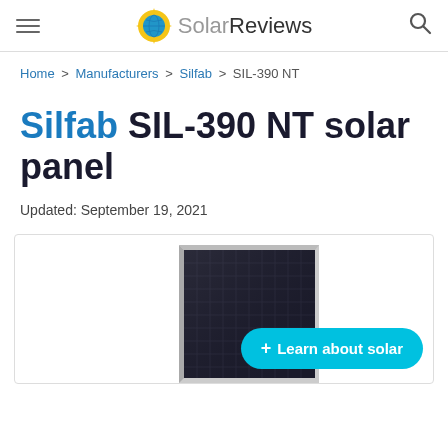SolarReviews — hamburger menu | logo | search icon
Home > Manufacturers > Silfab > SIL-390 NT
Silfab SIL-390 NT solar panel
Updated: September 19, 2021
[Figure (photo): Silfab SIL-390 NT solar panel product photo, partially cropped, showing dark blue/black solar cells in a silver frame, angled view. A cyan 'Learn about solar' button overlays the bottom right.]